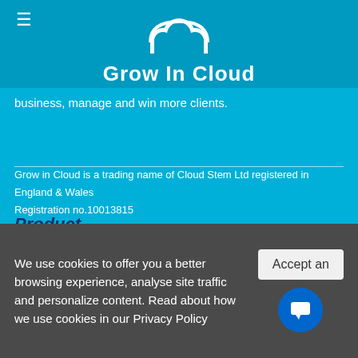[Figure (logo): Grow In Cloud logo with cloud icon and white text on blue background]
business, manage and win more clients.
Grow in Cloud is a trading name of Cloud Stem Ltd registered in England & Wales Registration no.10013815
Product
Online Appointment Scheduling
Online Document Management
Free Client Website
Professional Invoice Templates
Calendar Sync
Email Campaign Tracking
Live Website Widget
Customer Messaging
We use cookies to offer you a better browsing experience, analyse site traffic and personalize content. Read about how we use cookies in our Privacy Policy